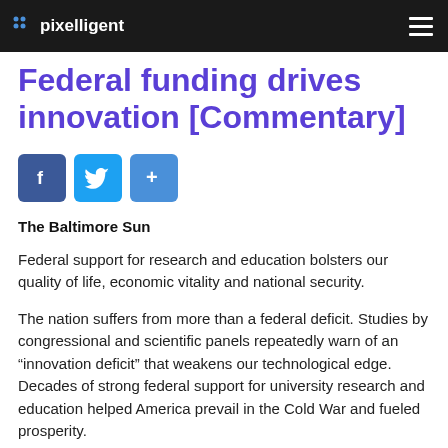pixelligent
Federal funding drives innovation [Commentary]
The Baltimore Sun
Federal support for research and education bolsters our quality of life, economic vitality and national security.
The nation suffers from more than a federal deficit. Studies by congressional and scientific panels repeatedly warn of an “innovation deficit” that weakens our technological edge. Decades of strong federal support for university research and education helped America prevail in the Cold War and fueled prosperity.